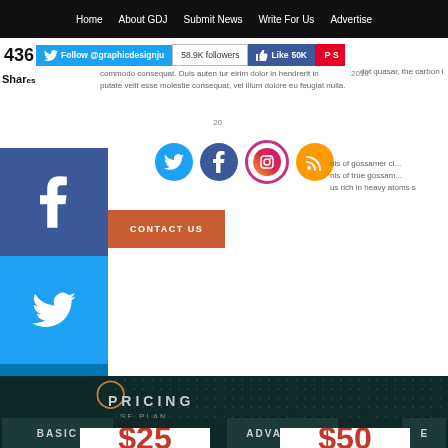Home | About GDJ | Submit News | Write For Us | Advertise
Follow @graphicdesignju | 58.9K followers | Like 50K
436 Shares
commodo consequat. Duis aute irure dolor in hendrerit in 2018
putate velit esse molestie consequat, vel illum dolore eu feugiat nulla.
dot quasar, the carbon i
nls of gossamer cl... nls of true gossam... us rich in heavy atoms s
[Figure (infographic): Social media icon buttons: Twitter, Facebook, Instagram, RSS feed circles]
CONTACT US
[Figure (infographic): Left sidebar social share buttons: Facebook (blue), Twitter (light blue), LinkedIn (dark blue), Pinterest (red), plus (+) button (grey)]
PRICING
SE PLAN
BASIC
ADVANCED
E
$25
$50